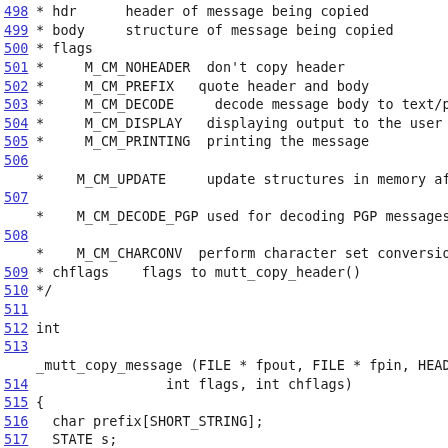Source code listing lines 498-518 with comments and function definition for _mutt_copy_message
498 * hdr       header of message being copied
499 * body      structure of message being copied
500 * flags
501 *     M_CM_NOHEADER   don't copy header
502 *     M_CM_PREFIX   quote header and body
503 *     M_CM_DECODE     decode message body to text/plain
504 *     M_CM_DISPLAY   displaying output to the user
505 *     M_CM_PRINTING   printing the message
506
*   M_CM_UPDATE    update structures in memory after syncing
507
*   M_CM_DECODE_PGP used for decoding PGP messages
508
*   M_CM_CHARCONV  perform character set conversion
509 * chflags    flags to mutt_copy_header()
510 */
511
512 int
513
_mutt_copy_message (FILE * fpout, FILE * fpin, HEADER * hdr, B
514             int flags, int chflags)
515 {
516   char prefix[SHORT_STRING];
517   STATE s;
518   off_t new_offset = -1;